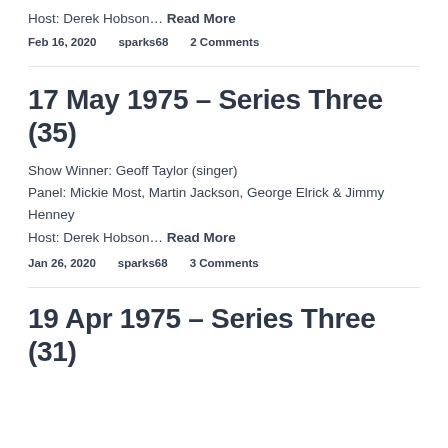Host: Derek Hobson… Read More
Feb 16, 2020     sparks68     2 Comments
17 May 1975 – Series Three (35)
Show Winner: Geoff Taylor (singer)
Panel: Mickie Most, Martin Jackson, George Elrick & Jimmy Henney
Host: Derek Hobson… Read More
Jan 26, 2020     sparks68     3 Comments
19 Apr 1975 – Series Three (31)